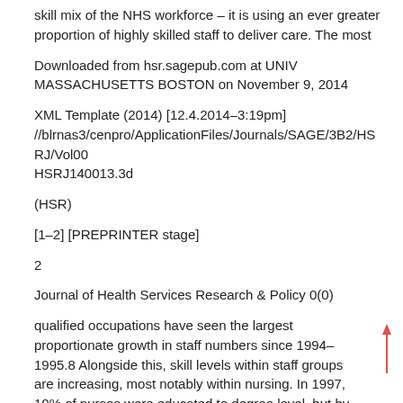skill mix of the NHS workforce – it is using an ever greater proportion of highly skilled staff to deliver care. The most
Downloaded from hsr.sagepub.com at UNIV MASSACHUSETTS BOSTON on November 9, 2014
XML Template (2014) [12.4.2014–3:19pm] //blrnas3/cenpro/ApplicationFiles/Journals/SAGE/3B2/HSRJ/Vol00 HSRJ140013.3d
(HSR)
[1–2] [PREPRINTER stage]
2
Journal of Health Services Research & Policy 0(0)
qualified occupations have seen the largest proportionate growth in staff numbers since 1994–1995.8 Alongside this, skill levels within staff groups are increasing, most notably within nursing. In 1997, 10% of nurses were educated to degree level, but by 2010, this had risen to 40%.8 Such skill